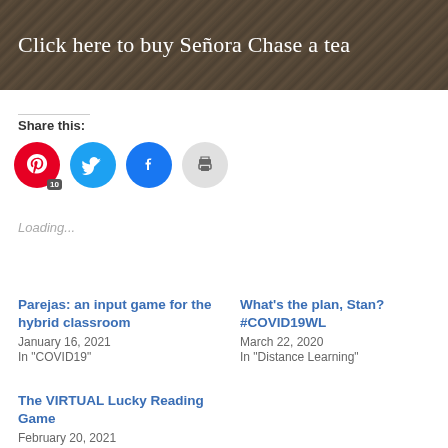[Figure (photo): Dark banner image with wood texture background and white text overlay reading 'Click here to buy Señora Chase a tea']
Share this:
[Figure (infographic): Social sharing buttons: Pinterest (red circle, count badge 10), Twitter (blue bird icon), Facebook (blue f icon), Print (grey printer icon)]
Loading...
Parejas: an input game for the hybrid classroom
January 16, 2021
In "COVID19"
What's the plan, Stan? #COVID19WL
March 22, 2020
In "Distance Learning"
The VIRTUAL Lucky Reading Game
February 20, 2021
In "COVID19"